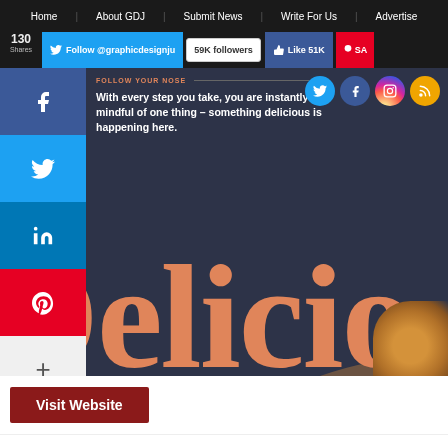Home | About GDJ | Submit News | Write For Us | Advertise
Follow @graphicdesignju  59K followers  Like 51K  SA
[Figure (screenshot): Website screenshot showing a dark-themed food/design website with large salmon-colored 'Delicio' text, social share sidebar with Facebook, Twitter, LinkedIn, Pinterest buttons, text reading 'FOLLOW YOUR NOSE 01 - With every step you take, you are instantly mindful of one thing - something delicious is happening here.', and social media icons in the top right]
Visit Website